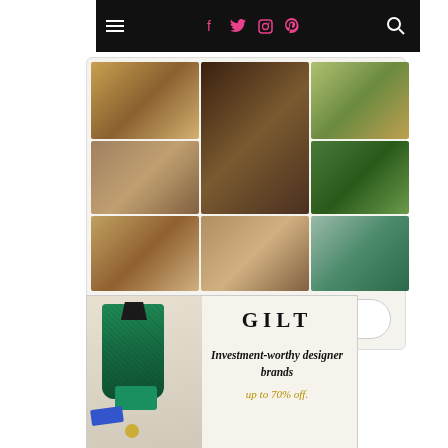Navigation bar with hamburger menu, social icons (Facebook, Twitter, Instagram, Pinterest), and search icon
[Figure (photo): Pinterest widget showing a 3x3 grid of food and drink photos including salads, appetizers, cocktails, and wine glasses, with a Follow On Pinterest button at the bottom]
[Figure (infographic): Gilt advertisement featuring a green lace dress with accessories and text: GILT - Investment-worthy designer brands up to 70% off.]